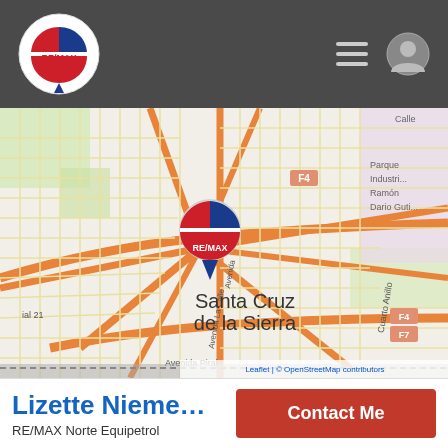RE/MAX header navigation bar with logo, hamburger menu, and user icon
[Figure (map): OpenStreetMap showing Santa Cruz de la Sierra, Bolivia, with a RE/MAX balloon pin marker in the center of the city grid. Street grid visible with major arteries highlighted in orange. Labels include: F4, Parque Industri, Ramón Darío Guti, Cuarto Anillo, Avenida La Calle, Avenida, Avenida Piral, ial 21, Santa Cruz de la Sierra, Leaflet | © OpenStreetMap contributors]
Lizette Nieme…
RE/MAX Norte Equipetrol
Contact Me